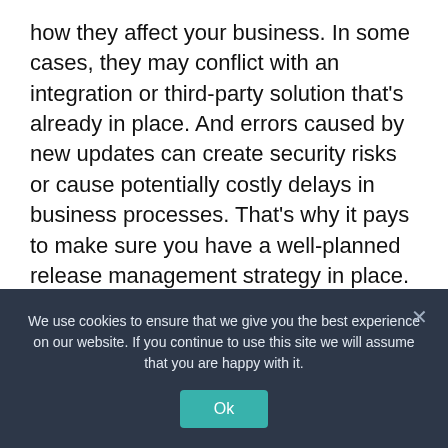how they affect your business. In some cases, they may conflict with an integration or third-party solution that's already in place. And errors caused by new updates can create security risks or cause potentially costly delays in business processes. That's why it pays to make sure you have a well-planned release management strategy in place. Let's take a closer look at what that means, and how it works.
What Is Release Management — and What Are the Benefits?
We use cookies to ensure that we give you the best experience on our website. If you continue to use this site we will assume that you are happy with it.